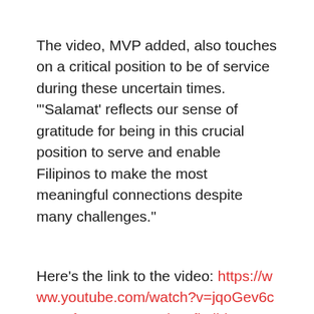The video, MVP added, also touches on a critical position to be of service during these uncertain times. "'Salamat' reflects our sense of gratitude for being in this crucial position to serve and enable Filipinos to make the most meaningful connections despite many challenges."
Here's the link to the video: https://www.youtube.com/watch?v=jqoGev6cgnY&feature=youtu.be&fbclid=IwAR2z7aoyL5yAzyViDrG79HMewtsoa3_xkHrJ2nSBStqdUV62X4qHn1xeWqE.